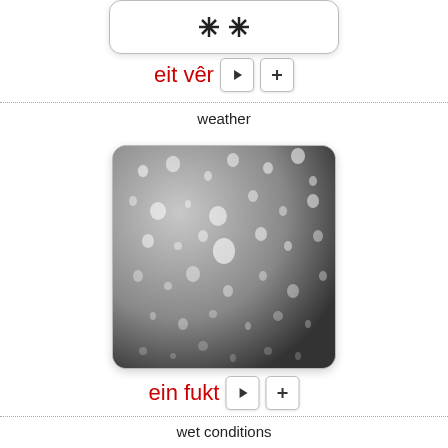[Figure (illustration): Snowflake icon inside a rounded rectangle card, partially visible at top of page]
eit vêr ▶ +
weather
[Figure (photo): Close-up black and white photograph of water droplets on a glass surface, representing wet/rainy conditions]
ein fukt ▶ +
wet conditions